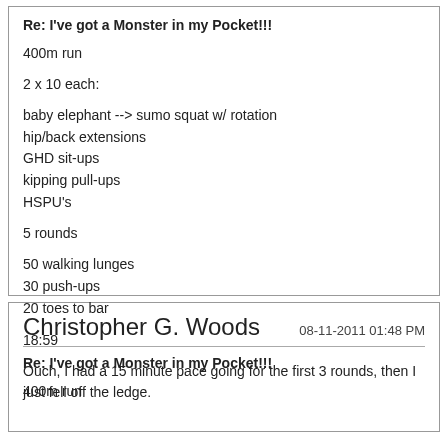Re: I've got a Monster in my Pocket!!!
400m run

2 x 10 each:

baby elephant --> sumo squat w/ rotation
hip/back extensions
GHD sit-ups
kipping pull-ups
HSPU's

5 rounds

50 walking lunges
30 push-ups
20 toes to bar

18:59

Ouch, I had a 15 minute pace going for the first 3 rounds, then I just fell off the ledge.
Christopher G. Woods
08-11-2011 01:48 PM
Re: I've got a Monster in my Pocket!!!
400m run